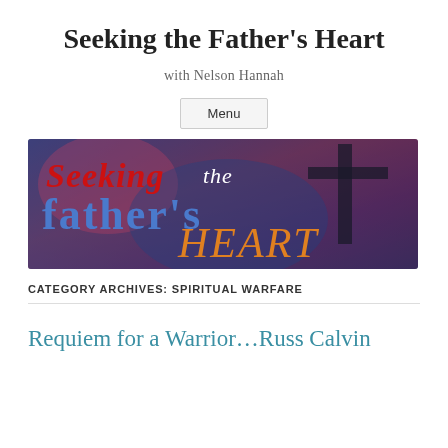Seeking the Father's Heart
with Nelson Hannah
Menu
[Figure (illustration): Banner image for 'Seeking the Fathers Heart' blog — stylized text in red, blue, and orange on a dark textured background with a cross silhouette]
CATEGORY ARCHIVES: SPIRITUAL WARFARE
Requiem for a Warrior…Russ Calvin